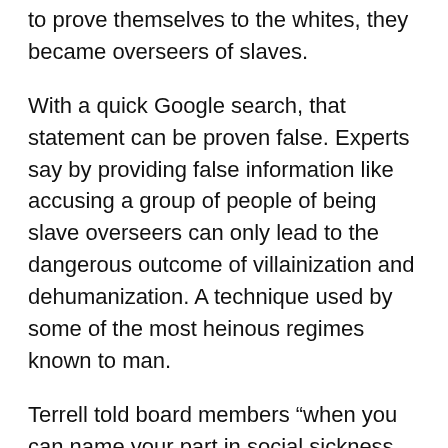to prove themselves to the whites, they became overseers of slaves.
With a quick Google search, that statement can be proven false. Experts say by providing false information like accusing a group of people of being slave overseers can only lead to the dangerous outcome of villainization and dehumanization. A technique used by some of the most heinous regimes known to man.
Terrell told board members “when you can name your part in social sickness, you can identify your role in the remedy. Be part of the healing.”
Terrell spoke freely of eliminating voices from conversation – and schools – that do not comport with his own world view.
When asked of Terrell’s statements to become a public th…